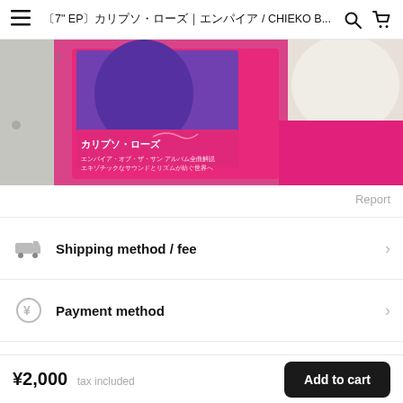≡  〔7" EPカリプソ・ローズ｜エンパイア / CHIEKO B... 🔍 🛒
[Figure (photo): Product photo showing a person holding a Japanese 7" EP vinyl record with pink cover art saying カリプソ・ローズ, the person wearing bright magenta/pink pants and white top]
Report
Shipping method / fee
Payment method
Chat with shop
[Figure (photo): Partial thumbnail strip showing teal and purple gradient image]
¥2,000  tax included
Add to cart